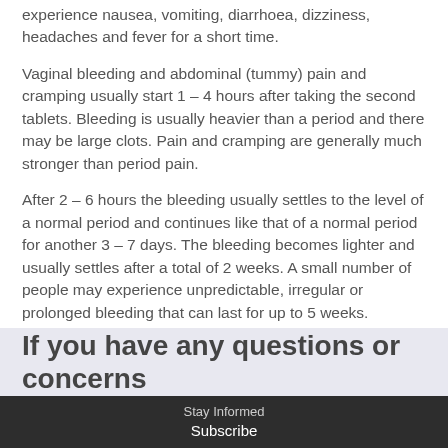experience nausea, vomiting, diarrhoea, dizziness, headaches and fever for a short time.
Vaginal bleeding and abdominal (tummy) pain and cramping usually start 1 – 4 hours after taking the second tablets. Bleeding is usually heavier than a period and there may be large clots. Pain and cramping are generally much stronger than period pain.
After 2 – 6 hours the bleeding usually settles to the level of a normal period and continues like that of a normal period for another 3 – 7 days. The bleeding becomes lighter and usually settles after a total of 2 weeks. A small number of people may experience unpredictable, irregular or prolonged bleeding that can last for up to 5 weeks.
If you have any questions or concerns
Stay Informed Subscribe